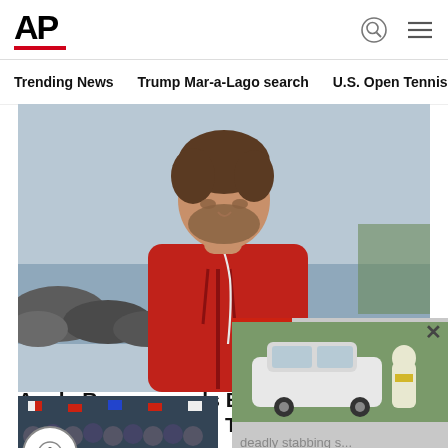[Figure (logo): AP (Associated Press) logo with bold black letters and red underbar]
Trending News  Trump Mar-a-Lago search  U.S. Open Tennis
[Figure (photo): Man wearing a red hoodie with white earphones looking downward, near a rocky shoreline with water and city skyline in background]
Apple Recommends Blinkist, Intellectuals Around The Wo…
Blinkist Magazine
[Figure (photo): Popup video overlay showing a white car and a person in protective gear, with text 'deadly stabbing s...' and a close button]
[Figure (photo): Bottom strip showing crowd with flags]